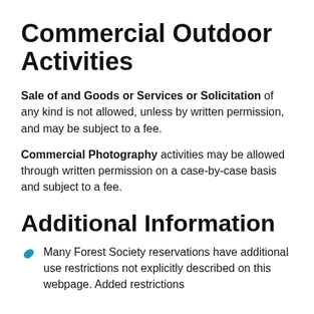Commercial Outdoor Activities
Sale of and Goods or Services or Solicitation of any kind is not allowed, unless by written permission, and may be subject to a fee.
Commercial Photography activities may be allowed through written permission on a case-by-case basis and subject to a fee.
Additional Information
Many Forest Society reservations have additional use restrictions not explicitly described on this webpage. Added restrictions